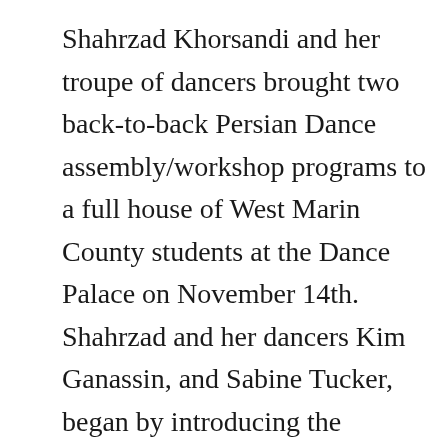Shahrzad Khorsandi and her troupe of dancers brought two back-to-back Persian Dance assembly/workshop programs to a full house of West Marin County students at the Dance Palace on November 14th.  Shahrzad and her dancers Kim Ganassin, and Sabine Tucker, began by introducing the audience to some basic movements of Persian Dance.  They then asked a few students to join them on stage.  The eager volunteers were visibly enjoying practicing their dance moves, as they followed the performers around the stage.  Once the students were re-seated, the dancers began their beautiful performance of Shahrzad's original piece entitled, Rainbow.  The performance focuses on world peace and is comprised of six short dances connected together through audio...